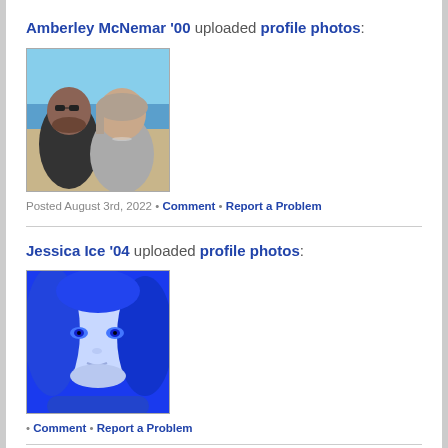Amberley McNemar '00 uploaded profile photos:
[Figure (photo): A couple posing together at a beach, man with sunglasses on the left, woman on the right]
Posted August 3rd, 2022 • Comment • Report a Problem
Jessica Ice '04 uploaded profile photos:
[Figure (photo): A blue-tinted artistic portrait photo of a woman with long hair]
• Comment • Report a Problem